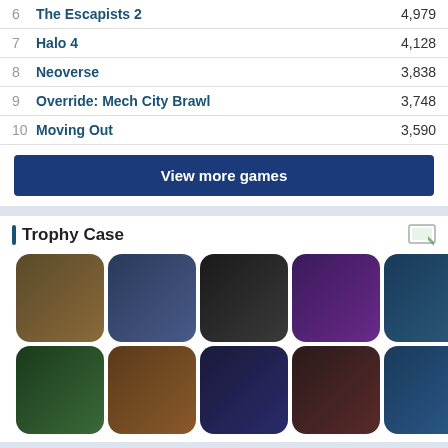| # | Game | Score |
| --- | --- | --- |
| 6 | The Escapists 2 | 4,979 |
| 7 | Halo 4 | 4,128 |
| 8 | Neoverse | 3,838 |
| 9 | Override: Mech City Brawl | 3,748 |
| 10 | Moving Out | 3,590 |
View more games
Trophy Case
[Figure (other): Grid of 28 game trophy/achievement icons in three rows]
Highest Ratio Achievements
| # | Achievement | Score |
| --- | --- | --- |
| 1 | Full House | 27,435 |
| 2 | Star Spangled | 22,206 |